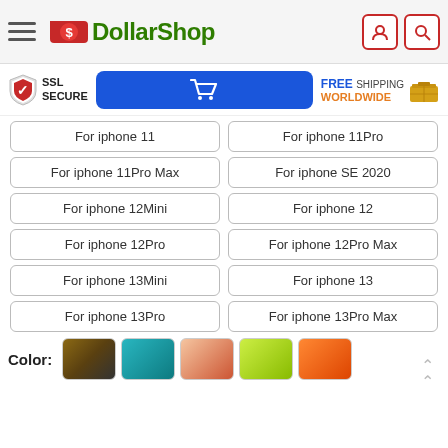DollarShop — header navigation with hamburger menu, logo, user and search icons
[Figure (screenshot): Trust bar with SSL Secure shield icon, blue shopping cart button, and Free Shipping Worldwide text with box icon]
For iphone 11
For iphone 11Pro
For iphone 11Pro Max
For iphone SE 2020
For iphone 12Mini
For iphone 12
For iphone 12Pro
For iphone 12Pro Max
For iphone 13Mini
For iphone 13
For iphone 13Pro
For iphone 13Pro Max
Color:
[Figure (photo): Five color swatch product images for phone case color selection]